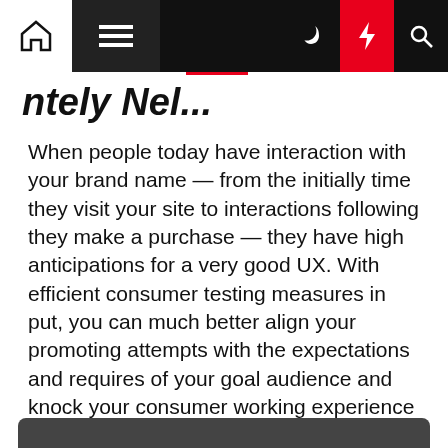[Navigation bar with home, menu, dark mode, lightning, search icons]
...ntely Nel... (partially visible cropped title)
When people today have interaction with your brand name — from the initially time they visit your site to interactions following they make a purchase — they have high anticipations for a very good UX. With efficient consumer testing measures in put, you can much better align your promoting attempts with the expectations and requires of your goal audience and knock your consumer working experience out of the park.
With a focused staff of UX professionals, Kuno Innovative can make your model stand out for the proper factors at just about every consumer touchpoint. Schedule a consultation to see how we can assistance.